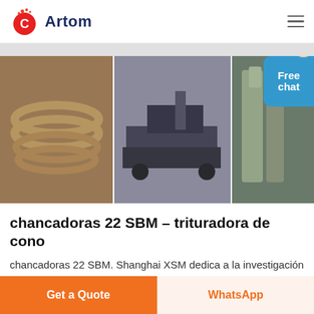Artom
[Figure (photo): Three side-by-side industrial machinery photos: left shows large circular crusher rings, center shows heavy equipment on truck at factory, right shows industrial grinding/processing towers. A customer service representative badge overlaid on right edge.]
chancadoras 22 SBM – trituradora de cono
chancadoras 22 SBM. Shanghai XSM dedica a la investigación y desarrollo, producción y venta de la máquina de trituración (trituradora, planta de agregado), como trituradora de mandíbula, trituradora de impacto, trituradora de cono, trituradora de piedra, trituradora de